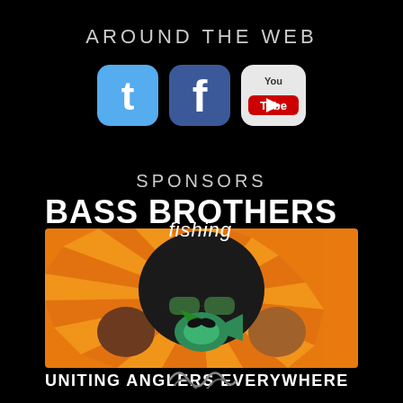AROUND THE WEB
[Figure (illustration): Social media icons: Twitter (blue bird icon), Facebook (blue f icon), YouTube (white/red YouTube logo)]
SPONSORS
[Figure (logo): Bass Brothers Fishing logo: bold white text 'BASS BROTHERS' with italic script 'Fishing', below it a cartoon illustration of a character with afro and sunglasses holding a bass fish, on orange sunburst background, with text 'UNITING ANGLERS EVERYWHERE']
[Figure (illustration): Small wave/water graphic at bottom]